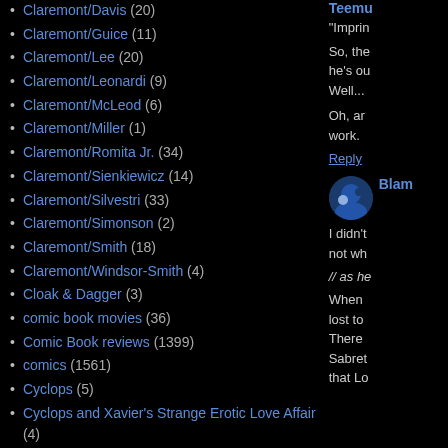Claremont/Davis (20)
Claremont/Guice (11)
Claremont/Lee (20)
Claremont/Leonardi (9)
Claremont/McLeod (6)
Claremont/Miller (1)
Claremont/Romita Jr. (34)
Claremont/Sienkiewicz (14)
Claremont/Silvestri (33)
Claremont/Simonson (2)
Claremont/Smith (18)
Claremont/Windsor-Smith (4)
Cloak & Dagger (3)
comic book movies (36)
Comic Book reviews (1399)
comics (1561)
Cyclops (5)
Cyclops and Xavier's Strange Erotic Love Affair (4)
Daredevil (9)
Darth Vader (2)
David/Buscema (4)
David/Keown (2)
Teemu
"Imprin
So, the he's ou Well...
Oh, ar work.
Reply
Blam
I didn't not wh
// as he
When lost to There Sabret that Lo